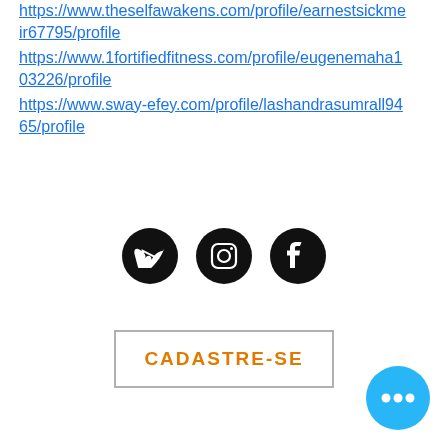https://www.theselfawakens.com/profile/earnestsickmeir67795/profile
https://www.1fortifiedfitness.com/profile/eugenemaha103226/profile
https://www.sway-efey.com/profile/lashandrasumrall9465/profile
[Figure (other): Three circular social media icons (Vimeo, Instagram, Facebook) in black with white logos]
[Figure (other): Button with border and orange uppercase text reading CADASTRE-SE]
[Figure (other): Blue circular chat button with three white dots (ellipsis) in bottom right corner]